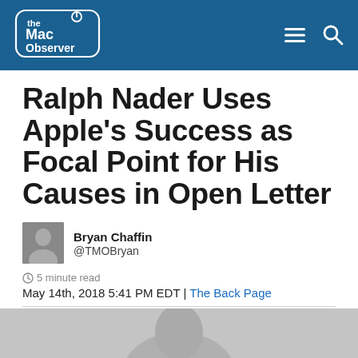The Mac Observer
Ralph Nader Uses Apple's Success as Focal Point for His Causes in Open Letter
Bryan Chaffin
@TMOBryan
5 minute read
May 14th, 2018 5:41 PM EDT | The Back Page
[Figure (photo): Partial photo at bottom of page, appears to show a person, mostly cropped out]